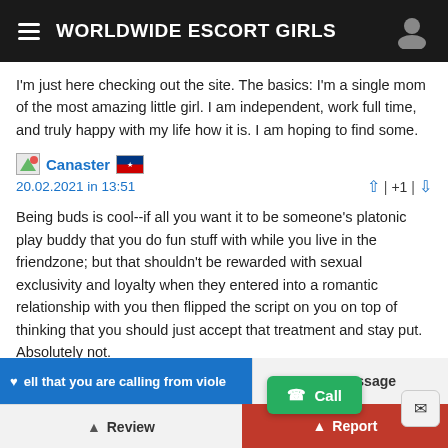WORLDWIDE ESCORT GIRLS
I'm just here checking out the site. The basics: I'm a single mom of the most amazing little girl. I am independent, work full time, and truly happy with my life how it is. I am hoping to find some.
Canaster  20.02.2021 in 13:51   | +1 |
Being buds is cool--if all you want it to be someone's platonic play buddy that you do fun stuff with while you live in the friendzone; but that shouldn't be rewarded with sexual exclusivity and loyalty when they entered into a romantic relationship with you then flipped the script on you on top of thinking that you should just accept that treatment and stay put. Absolutely not.
[Figure (other): Pagination control with left arrow, page number 1 highlighted in blue, and right arrow]
ell that you are calling from viole
Message
Review
Report
Call